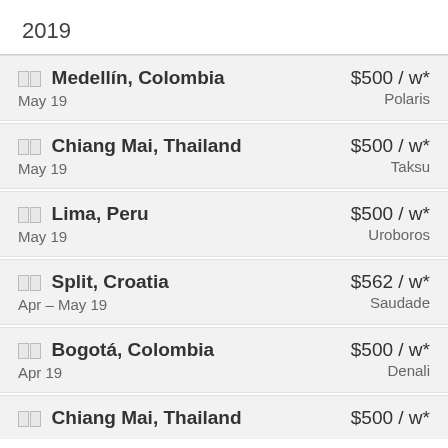2019
🏴🏴 Medellín, Colombia  $500 / w*  May 19  Polaris
🏴🏴 Chiang Mai, Thailand  $500 / w*  May 19  Taksu
🏴🏴 Lima, Peru  $500 / w*  May 19  Uroboros
🏴🏴 Split, Croatia  $562 / w*  Apr – May 19  Saudade
🏴🏴 Bogotá, Colombia  $500 / w*  Apr 19  Denali
🏴🏴 Chiang Mai, Thailand  $500 / w*